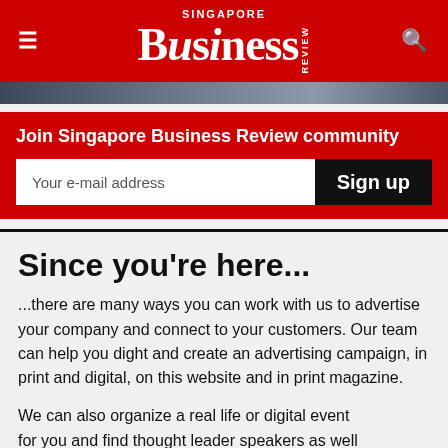Singapore Business Review
[Figure (photo): Partial image strip, appears to be a cropped photo with dark and blue-grey tones]
Join Singapore Business Review community
Your e-mail address
Sign up
Since you're here...
...there are many ways you can work with us to advertise your company and connect to your customers. Our team can help you dight and create an advertising campaign, in print and digital, on this website and in print magazine.
We can also organize a real life or digital event for you and find thought leader speakers as well as industry leaders, who could be your potential partners, to join the event. We also run some awards programmes which give